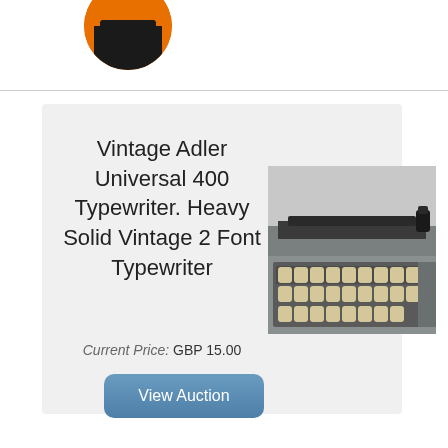[Figure (logo): Partial circular logo visible at top, black element on orange background]
Vintage Adler Universal 400 Typewriter. Heavy Solid Vintage 2 Font Typewriter
Current Price: GBP 15.00
[Figure (photo): Photo of a vintage Adler Universal 400 typewriter, grey body with cream/beige keys, viewed from above-right angle]
View Auction